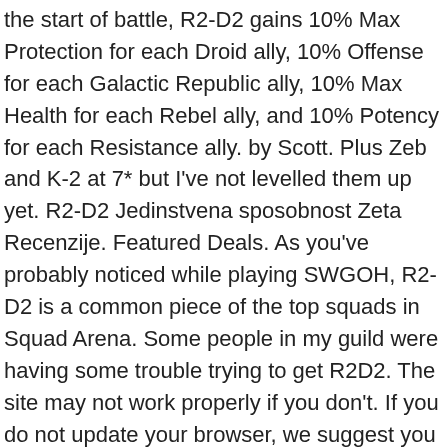the start of battle, R2-D2 gains 10% Max Protection for each Droid ally, 10% Offense for each Galactic Republic ally, 10% Max Health for each Rebel ally, and 10% Potency for each Resistance ally. by Scott. Plus Zeb and K-2 at 7* but I've not levelled them up yet. R2-D2 Jedinstvena sposobnost Zeta Recenzije. Featured Deals. As you've probably noticed while playing SWGOH, R2-D2 is a common piece of the top squads in Squad Arena. Some people in my guild were having some trouble trying to get R2D2. The site may not work properly if you don't. If you do not update your browser, we suggest you visit. Press J to jump to the feed. Any ideas? Svima u timu daje 10% svoje maksimalne zaštite (vrijedi se sjetiti kada i vi mod R2-D2 njega) na početku bitke i kad je oživljen, ali to nije sve. SWGOH R2D2 Guide. I'm in love already. Unlocking 7 star